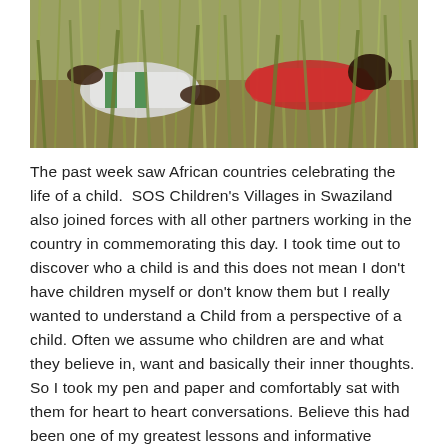[Figure (photo): Photograph of children lying in grass, wearing colorful clothes including white and green jersey and red top, viewed from above among tall dry grass stalks.]
The past week saw African countries celebrating the life of a child.  SOS Children's Villages in Swaziland also joined forces with all other partners working in the country in commemorating this day. I took time out to discover who a child is and this does not mean I don't have children myself or don't know them but I really wanted to understand a Child from a perspective of a child. Often we assume who children are and what they believe in, want and basically their inner thoughts. So I took my pen and paper and comfortably sat with them for heart to heart conversations. Believe this had been one of my greatest lessons and informative conversations. From now on I believe me and you will learn and know what and who a Child is.